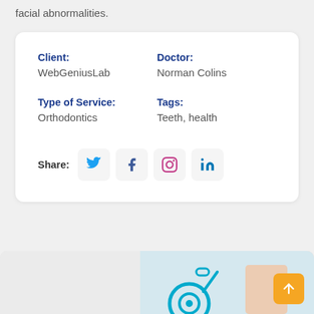facial abnormalities.
Client: WebGeniusLab
Doctor: Norman Colins
Type of Service: Orthodontics
Tags: Teeth, health
Share:
[Figure (screenshot): Bottom image showing a doctor with stethoscope, partially visible, with an orange back-to-top button in the bottom right corner.]